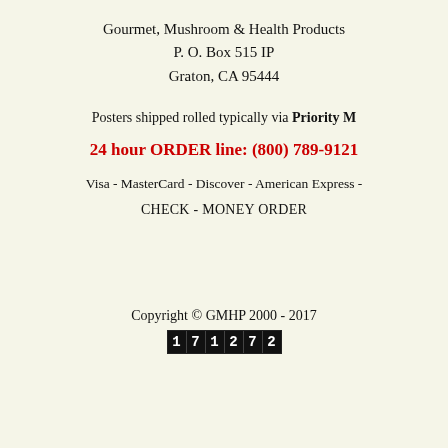Gourmet, Mushroom & Health Products
P. O. Box 515 IP
Graton, CA 95444
Posters shipped rolled typically via Priority M...
24 hour ORDER line: (800) 789-9121
Visa - MasterCard - Discover - American Express -
CHECK - MONEY ORDER
Copyright © GMHP 2000 - 2017
[Figure (other): Digital counter showing the number 171272]